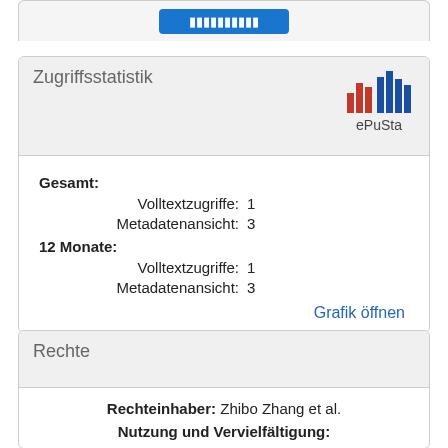[Figure (other): Partial top box with a blue button (partially visible at top of page)]
Zugriffsstatistik
[Figure (logo): ePuSta bar chart logo with red and blue bars and label 'ePuSta']
Gesamt:
  Volltextzugriffe: 1
  Metadatenansicht: 3
12 Monate:
  Volltextzugriffe: 1
  Metadatenansicht: 3
Grafik öffnen
Rechte
Rechteinhaber: Zhibo Zhang et al.
Nutzung und Vervielfältigung: